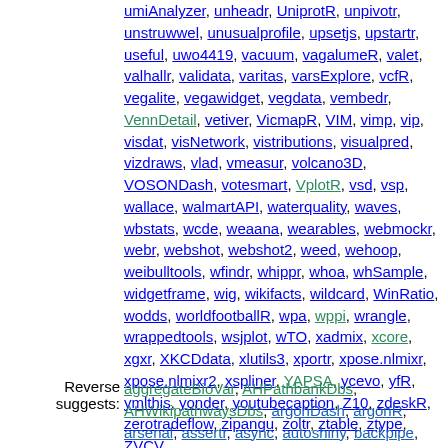umiAnalyzer, unheadr, UniprotR, unpivotr, unstruwwel, unusualprofile, upsetjs, upstartr, useful, uwo4419, vacuum, vagalumeR, valet, valhallr, validata, varitas, varsExplore, vcfR, vegalite, vegawidget, vegdata, vembedr, VennDetail, vetiver, VicmapR, VIM, vimp, vip, visdat, visNetwork, vistributions, visualpred, vizdraws, vlad, vmeasur, volcano3D, VOSONDash, votesmart, VplotR, vsd, vsp, wallace, walmartAPI, waterquality, waves, wbstats, wcde, weaana, wearables, webmockr, webr, webshot, webshot2, weed, wehoop, weibulltools, wfindr, whippr, whoa, whSample, widgetframe, wig, wikifacts, wildcard, WinRatio, wodds, worldfootballR, wpa, wppi, wrangle, wrappedtools, wsjplot, wTO, xadmix, xcore, xgxr, XKCDdata, xlutils3, xportr, xpose.nlmixr, xpose.nlmixr2, xspliner, YAPSA, ycevo, yfR, ymlthis, yonder, youtubecaption, Z10, zdeskR, zerotradeflow, zipangu, zoltr, ztable, ztype, ZVCV
Reverse suggests: aggregateBioVar, AHPathbankDbs, AHWikipathwaysDbs, argonDash, argonR, arsenal, assertr, async, autoshiny, backpipe, bayesAB, BayesianFROC, bcpa, bigchess